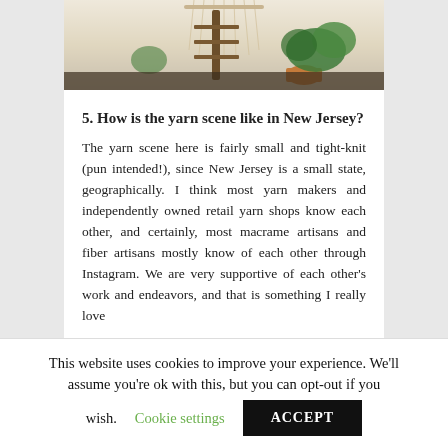[Figure (photo): Photo of a bohemian room interior with macrame wall hangings, a wooden ladder, and tropical plants against a white wall]
5. How is the yarn scene like in New Jersey?
The yarn scene here is fairly small and tight-knit (pun intended!), since New Jersey is a small state, geographically. I think most yarn makers and independently owned retail yarn shops know each other, and certainly, most macrame artisans and fiber artisans mostly know of each other through Instagram. We are very supportive of each other's work and endeavors, and that is something I really love
This website uses cookies to improve your experience. We'll assume you're ok with this, but you can opt-out if you wish. Cookie settings ACCEPT